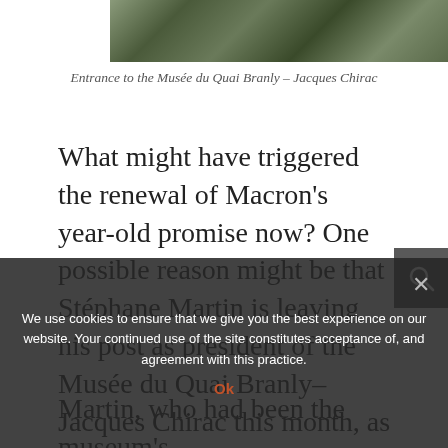[Figure (photo): Photograph of the entrance to the Musée du Quai Branly – Jacques Chirac, showing outdoor greenery and people walking]
Entrance to the Musée du Quai Branly – Jacques Chirac
What might have triggered the renewal of Macron's year-old promise now? One possible reason might be that Stéphane Martin is leaving his post as president of the Musée du Quai Branly–Jacques Chirac this month, as reported on the website ARTNews. According to this report, Martin, who had been the museum's president for more than 20 years, was strongly opposed to Sarr and Savoy's recommendations, stating that full-scale
We use cookies to ensure that we give you the best experience on our website. Your continued use of the site constitutes acceptance of, and agreement with this practice.